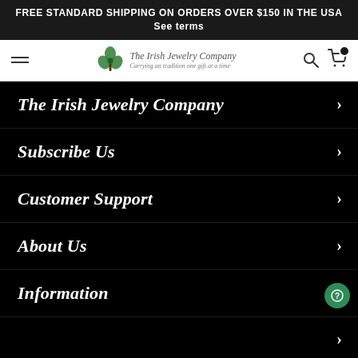FREE STANDARD SHIPPING ON ORDERS OVER $150 IN THE USA See terms
[Figure (logo): The Irish Jewelry Company logo with shamrock icon and italic text 'Carrying an tradition one gift at a time']
The Irish Jewelry Company
Subscribe Us
Customer Support
About Us
Information
Bottom navigation bar with home, search, cart, account, and more icons